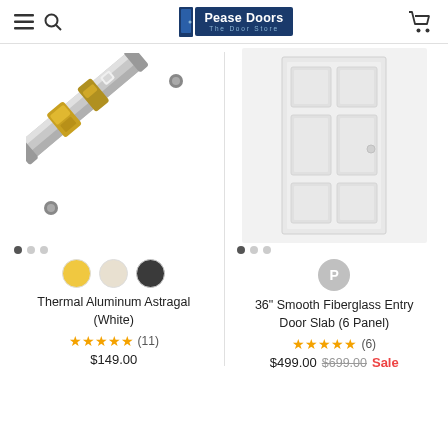Pease Doors – The Door Store
[Figure (photo): Thermal Aluminum Astragal product photo – diagonal aluminum bar with gold/bronze fittings]
[Figure (photo): 36-inch smooth fiberglass entry door slab with 6 raised panels, white finish]
Thermal Aluminum Astragal (White)
36" Smooth Fiberglass Entry Door Slab (6 Panel)
★★★★★ (11)  $149.00
★★★★★ (6)  $499.00  $699.00  Sale